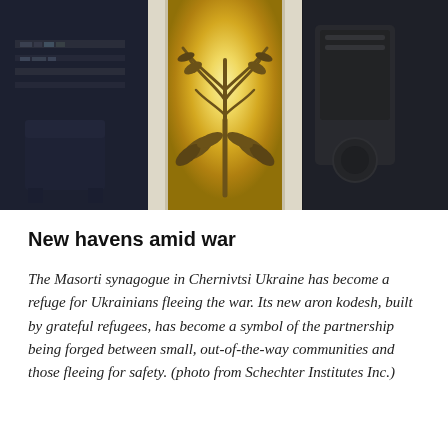[Figure (photo): A glowing aron kodesh (ark) with a tree/menorah design carved or etched into a frosted glass or wooden panel, backlit with warm golden light. White frame panels flank the central illuminated panel. Dark room visible on both sides with bookshelves on the left and appliances on the right.]
New havens amid war
The Masorti synagogue in Chernivtsi Ukraine has become a refuge for Ukrainians fleeing the war. Its new aron kodesh, built by grateful refugees, has become a symbol of the partnership being forged between small, out-of-the-way communities and those fleeing for safety. (photo from Schechter Institutes Inc.)